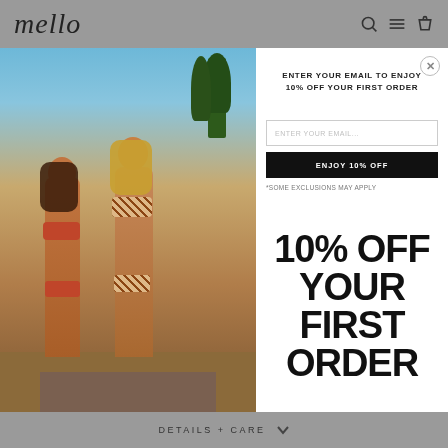mello
[Figure (photo): Two women in bikinis standing outdoors in a desert/arid landscape with trees and blue sky in background]
ENTER YOUR EMAIL TO ENJOY 10% OFF YOUR FIRST ORDER
ENTER YOUR EMAIL...
ENJOY 10% OFF
*SOME EXCLUSIONS MAY APPLY
10% OFF YOUR FIRST ORDER
DETAILS + CARE